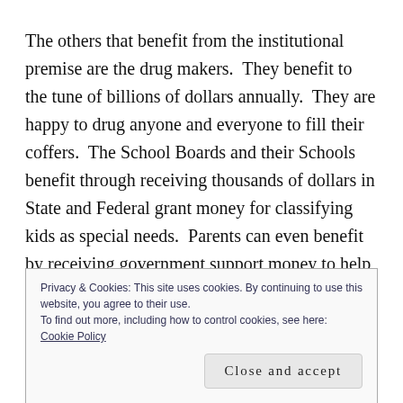The others that benefit from the institutional premise are the drug makers.  They benefit to the tune of billions of dollars annually.  They are happy to drug anyone and everyone to fill their coffers.  The School Boards and their Schools benefit through receiving thousands of dollars in State and Federal grant money for classifying kids as special needs.  Parents can even benefit by receiving government support money to help their special needs child.  It WORKS!  Right!
Privacy & Cookies: This site uses cookies. By continuing to use this website, you agree to their use.
To find out more, including how to control cookies, see here: Cookie Policy
Close and accept